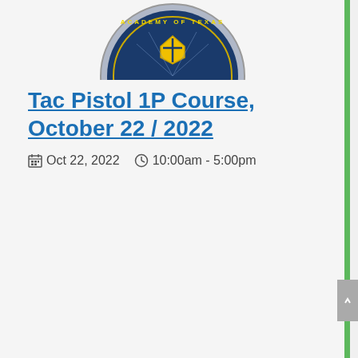[Figure (logo): Strategic Weapons Academy of Texas circular badge logo (partially visible at top)]
Tac Pistol 1P Course, October 22 / 2022
Oct 22, 2022   10:00am - 5:00pm
[Figure (logo): Strategic Weapons Academy of Texas S.W.A.T. circular badge logo with shield and sword]
SWAT Certification Course